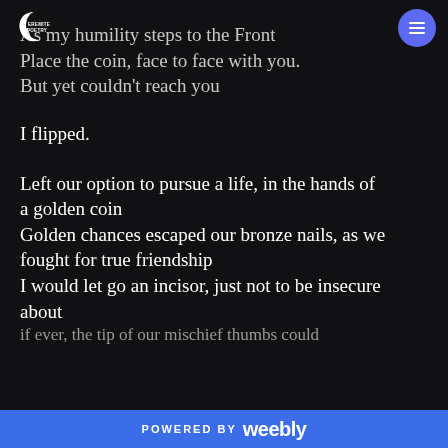EREMITE POETRY
As my humility steps to the Front
Place the coin, face to face with you.
But yet couldn't reach you

I flipped.

Left our option to pursue a life, in the hands of a golden coin
Golden chances escaped our bronze nails, as we fought for true friendship
I would let go an incisor, just not to be insecure about
if ever, the tip of our mischief thumbs could
POWERED BY weebly